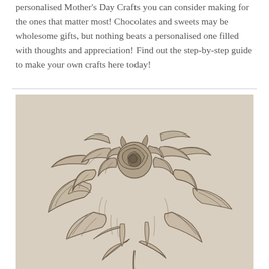personalised Mother's Day Crafts you can consider making for the ones that matter most! Chocolates and sweets may be wholesome gifts, but nothing beats a personalised one filled with thoughts and appreciation! Find out the step-by-step guide to make your own crafts here today!
[Figure (illustration): A detailed pencil sketch/drawing of a rose with leaves and stem on a beige/tan paper background. The rose is rendered in graphite with careful shading showing petals, center, leaves at the base, and a stem extending downward.]